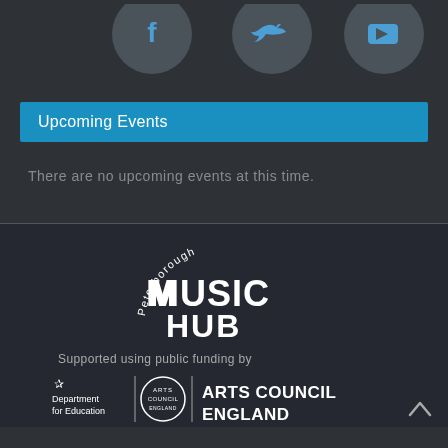[Figure (illustration): Three social media icon circles (Facebook, Twitter, YouTube) on dark background, partially cropped at top]
Upcoming Events
There are no upcoming events at this time.
[Figure (logo): Peterborough Music Hub logo — stylized text with 'Peterborough' arching above 'MUSIC HUB' in distressed white lettering on dark background]
Supported using public funding by
[Figure (logo): Department for Education logo (crown emblem) | Arts Council England circular stamp logo | ARTS COUNCIL ENGLAND text in bold white]